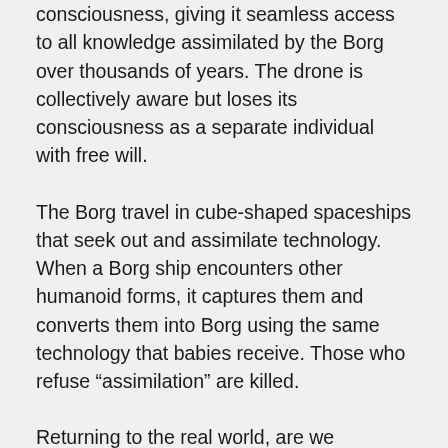consciousness, giving it seamless access to all knowledge assimilated by the Borg over thousands of years. The drone is collectively aware but loses its consciousness as a separate individual with free will.
The Borg travel in cube-shaped spaceships that seek out and assimilate technology. When a Borg ship encounters other humanoid forms, it captures them and converts them into Borg using the same technology that babies receive. Those who refuse “assimilation” are killed.
Returning to the real world, are we becoming the Borg? We are – and we’re embracing the transition.
Consider Wisconsin firm Three Square Market (32M). Last month, it announced a voluntary initiative for its employees to have microchips implanted in their hands. The company that sells kiosks designed to replace